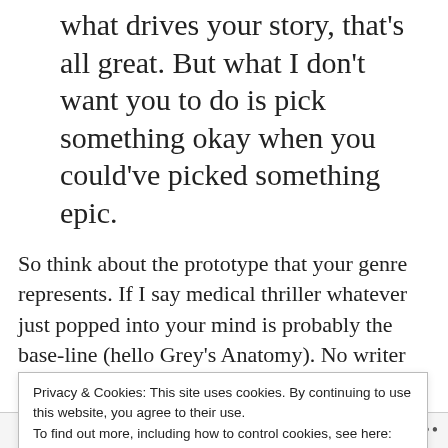what drives your story, that's all great. But what I don't want you to do is pick something okay when you could've picked something epic.
So think about the prototype that your genre represents. If I say medical thriller whatever just popped into your mind is probably the base-line (hello Grey's Anatomy). No writer wants to meet just
Privacy & Cookies: This site uses cookies. By continuing to use this website, you agree to their use.
To find out more, including how to control cookies, see here: Cookie Policy
Close and accept